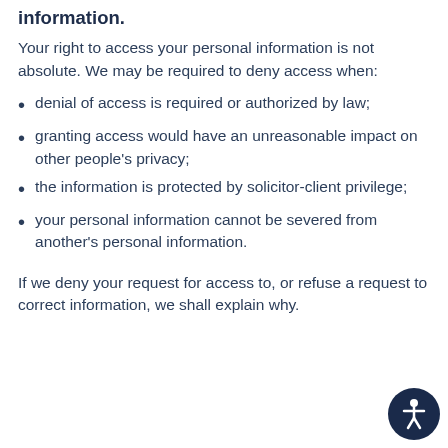information.
Your right to access your personal information is not absolute. We may be required to deny access when:
denial of access is required or authorized by law;
granting access would have an unreasonable impact on other people's privacy;
the information is protected by solicitor-client privilege;
your personal information cannot be severed from another's personal information.
If we deny your request for access to, or refuse a request to correct information, we shall explain why.